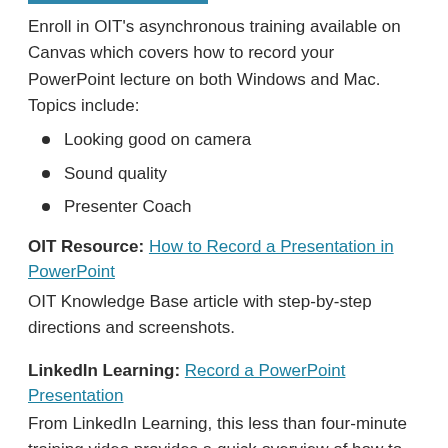Enroll in OIT's asynchronous training available on Canvas which covers how to record your PowerPoint lecture on both Windows and Mac. Topics include:
Looking good on camera
Sound quality
Presenter Coach
OIT Resource: How to Record a Presentation in PowerPoint
OIT Knowledge Base article with step-by-step directions and screenshots.
LinkedIn Learning: Record a PowerPoint Presentation
From LinkedIn Learning, this less than four-minute training video provides a quick overview of how to